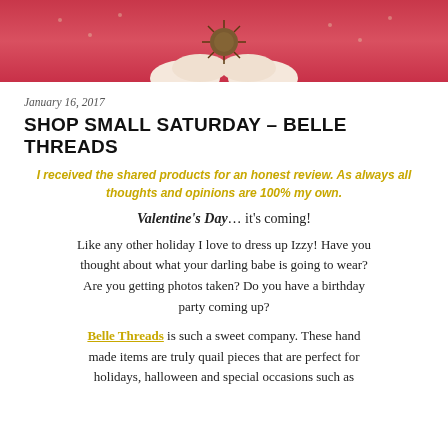[Figure (photo): Photo of person in red dress holding a spiky decorative ball against a pink/red background, cropped to show hands and bottom of image]
January 16, 2017
SHOP SMALL SATURDAY – BELLE THREADS
I received the shared products for an honest review. As always all thoughts and opinions are 100% my own.
Valentine's Day… it's coming!
Like any other holiday I love to dress up Izzy! Have you thought about what your darling babe is going to wear? Are you getting photos taken? Do you have a birthday party coming up?
Belle Threads is such a sweet company. These hand made items are truly quail pieces that are perfect for holidays, halloween and special occasions such as